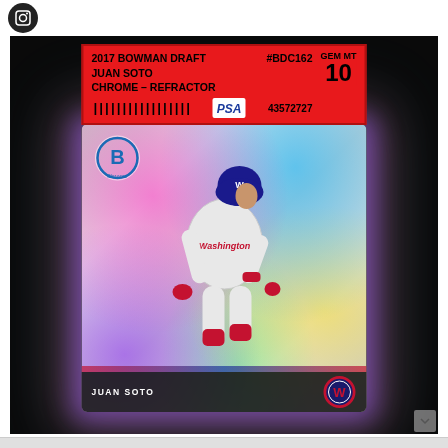[Figure (photo): A PSA-graded 2017 Bowman Draft Juan Soto Chrome Refractor baseball card #BDC162 graded GEM MT 10 with certification number 43572727. The card shows Juan Soto in a Washington Nationals uniform in a batting stance pose, with a holographic/rainbow refractor background. The card is displayed in a PSA slab case against a dark background.]